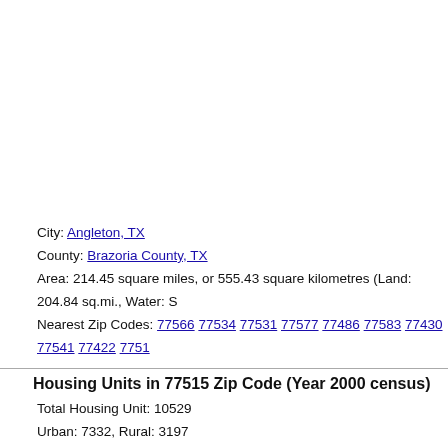City: Angleton, TX
County: Brazoria County, TX
Area: 214.45 square miles, or 555.43 square kilometres (Land: 204.84 sq.mi., Water: S
Nearest Zip Codes: 77566 77534 77531 77577 77486 77583 77430 77541 77422 7751
Housing Units in 77515 Zip Code (Year 2000 census)
Total Housing Unit: 10529
Urban: 7332, Rural: 3197
Occupied: 9471 (Owner: 7024, Renter: 2447), Vacant: 1058
Median number of rooms: 5.2
Median value of owner-occupied housing units: $63,300